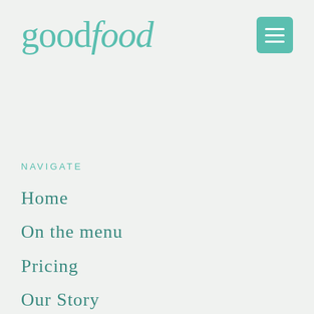[Figure (logo): goodfood logo in teal/mint italic serif font]
[Figure (other): Hamburger menu icon button with three horizontal white lines on teal/mint square background]
NAVIGATE
Home
On the menu
Pricing
Our Story
BLOG